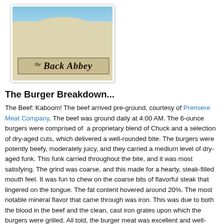[Figure (photo): Exterior sign of 'the Back Abbey' restaurant, showing the establishment's name in gothic/blackletter font on a light-colored stucco building facade against a blue sky.]
The Burger Breakdown...
The Beef: Kaboom! The beef arrived pre-ground, courtesy of Premiere Meat Company. The beef was ground daily at 4:00 AM. The 6-ounce burgers were comprised of a proprietary blend of Chuck and a selection of dry-aged cuts, which delivered a well-rounded bite. The burgers were potently beefy, moderately juicy, and they carried a medium level of dry-aged funk. This funk carried throughout the bite, and it was most satisfying. The grind was coarse, and this made for a hearty, steak-filled mouth feel. It was fun to chew on the coarse bits of flavorful steak that lingered on the tongue. The fat content hovered around 20%. The most notable mineral flavor that came through was iron. This was due to both the blood in the beef and the clean, cast iron grates upon which the burgers were grilled. All told, the burger meat was excellent and well-balanced at The Back Abbey.